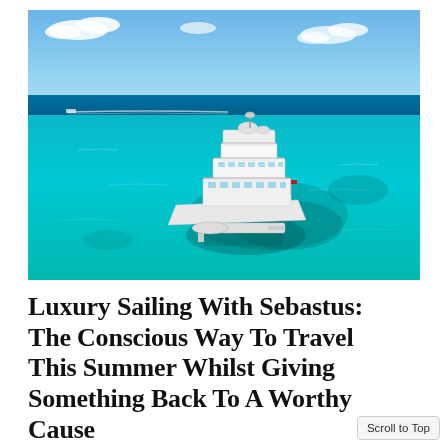[Figure (photo): Aerial view of a large white luxury motor yacht anchored in shallow turquoise Caribbean waters with a coral reef visible beneath the surface. A small tender is deployed from the stern. Another vessel is seen in the distance creating a wake. Blue sky with scattered clouds above the horizon.]
Luxury Sailing With Sebastus: The Conscious Way To Travel This Summer Whilst Giving Something Back To A Worthy Cause
Scroll to Top